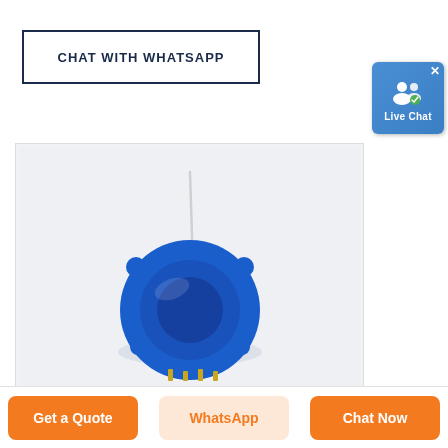CHAT WITH WHATSAPP
[Figure (illustration): Live Chat widget with person icon and blue background, showing 'Live Chat' label and an X close button]
[Figure (photo): Blue circular electronic sensor/device with an antenna wire sticking upward and gold pins at the bottom, on a white/light gray background]
Get a Quote
WhatsApp
Chat Now